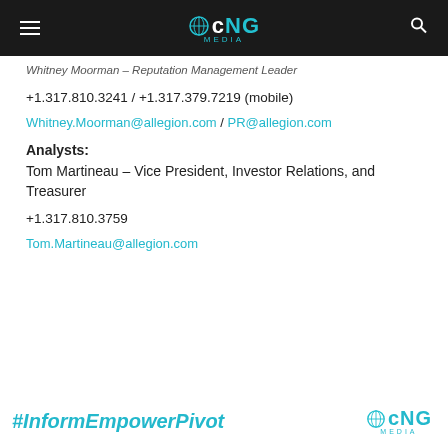CNG MEDIA
Whitney Moorman – Reputation Management Leader
+1.317.810.3241 / +1.317.379.7219 (mobile)
Whitney.Moorman@allegion.com / PR@allegion.com
Analysts:
Tom Martineau – Vice President, Investor Relations, and Treasurer
+1.317.810.3759
Tom.Martineau@allegion.com
#InformEmpowerPivot  CNG MEDIA